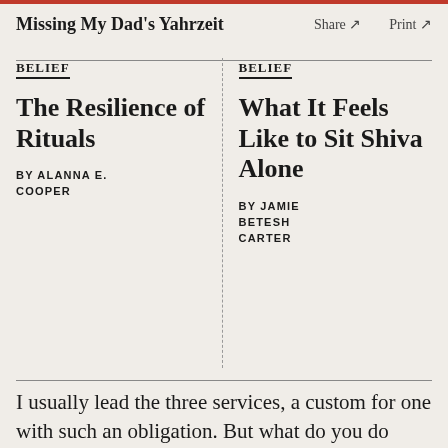Missing My Dad's Yahrzeit   Share ↗   Print ↗
BELIEF
The Resilience of Rituals
BY ALANNA E. COOPER
BELIEF
What It Feels Like to Sit Shiva Alone
BY JAMIE BETESH CARTER
I usually lead the three services, a custom for one with such an obligation. But what do you do when social distancing rules prevent it, like so